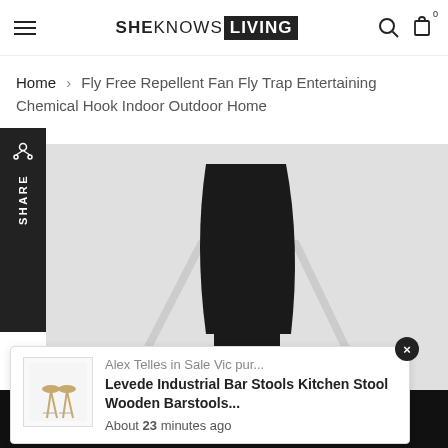SHEKNOWS LIVING — navigation bar with hamburger menu, logo, search and cart icons
Home > Fly Free Repellent Fan Fly Trap Entertaining Chemical Hook Indoor Outdoor Home
[Figure (screenshot): Share sidebar with share icon and rotated SHARE text on dark background]
[Figure (photo): Product image area showing partial view of a black conical product with white/clear legs on gray background]
Alex Telles in Sale Vic pur...
Levede Industrial Bar Stools Kitchen Stool Wooden Barstools...
About 23 minutes ago
Bottom navigation bar with hamburger menu, cart (0), profile, and up arrow icons